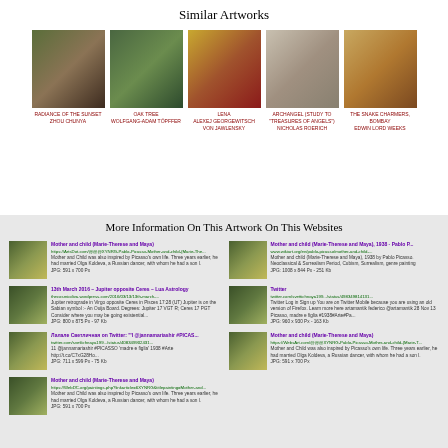Similar Artworks
[Figure (illustration): RADIANCE OF THE SUNSET - ZHOU CHUNYA - painting thumbnail]
[Figure (illustration): OAK TREE - WOLFGANG-ADAM TÖPFFER - painting thumbnail]
[Figure (illustration): LENA - ALEXEJ GEORGEWITSCH VON JAWLENSKY - painting thumbnail]
[Figure (illustration): ARCHANGEL (STUDY TO 'TREASURES OF ANGELS') - NICHOLAS ROERICH - painting thumbnail]
[Figure (illustration): THE SNAKE CHARMERS, BOMBAY - EDWIN LORD WEEKS - painting thumbnail]
More Information On This Artwork On This Websites
Mother and child (Marie-Therese and Maya)
https://ArtsDot.com/@@@XYNRG-Pablo-Picasso-Mother-and-child-(Marie-The...
Mother and Child was also inspired by Picasso's own life. Three years earlier, he had married Olga Koldeva, a Russian dancer, with whom he had a son I.
JPG: 591 x 700 Px
Mother and child (Marie-Therese and Maya), 1938 - Pablo P...
www.wikiart.org/en/pablo-picasso/mother-and-child-...
Mother and Child (Marie-Therese and Maya), 1938 by Pablo Picasso. Neoclassical & Surrealism Period, Cubism, Surrealism, genre painting
JPG: 1008 x 844 Px - 251 Kb
13th March 2016 – Jupiter opposite Ceres – Lua Astrology
thecosmicdiva.wordpress.com/2016/03/13/13th-march-...
Jupiter retrograde in Virgo opposite Ceres in Pisces 17:28 (UT) Jupiter is on the Sabian symbol :- An Ouija Board. Degrees: Jupiter 17 VGT R; Ceres 17 PGT Consider where you may be going existential...
JPG: 800 x 875 Px - 97 Kb
Twitter
twitter.com/svettichnaya199.../status/498349814131...
Twitter Log in Sign up You are on Twitter Mobile because you are using an old version of Firefox. Learn more here artamantik federico @artamantik 28 Nov 13 Picasso, madre e figlia #1938#Arte#Pa...
JPG: 960 x 930 Px - 163 Kb
Лалале Светличная on Twitter: "'I @jannamariashir #PICAS...
twitter.com/svetlichnaya199.../status/408349902431...
11 @jannamariashir #PICASSO 'madre e figlia' 1938 #Arte http://t.co/C7xG28Ho...
JPG: 711 x 599 Px - 75 Kb
Mother and child (Marie-Therese and Maya)
https://WebsArt.com/@@@XYNRG-Pablo-Picasso-Mother-and-child-(Marie-T...
Mother and Child was also inspired by Picasso's own life. Three years earlier, he had married Olga Koldeva, a Russian dancer, with whom he had a son I.
JPG: 591 x 700 Px
Mother and child (Marie-Therese and Maya)
https://WebDC.org/paintings.php?linkarticle=6XYNRG&titlepainting=Mother-and...
Mother and Child was also inspired by Picasso's own life. Three years earlier, he had married Olga Koldeva, a Russian dancer, with whom he had a son I.
JPG: 591 x 700 Px